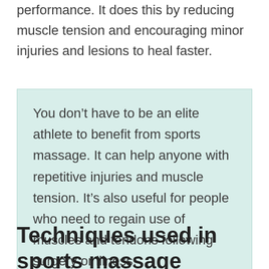performance. It does this by reducing muscle tension and encouraging minor injuries and lesions to heal faster.
You don’t have to be an elite athlete to benefit from sports massage. It can help anyone with repetitive injuries and muscle tension. It’s also useful for people who need to regain use of muscles and tendons following surgery or illness.
Techniques used in sports massage